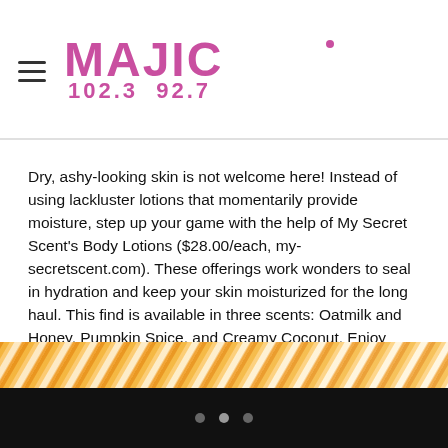MAJIC 102.3 92.7
Dry, ashy-looking skin is not welcome here! Instead of using lackluster lotions that momentarily provide moisture, step up your game with the help of My Secret Scent’s Body Lotions ($28.00/each, my-secretscent.com). These offerings work wonders to seal in hydration and keep your skin moisturized for the long haul. This find is available in three scents: Oatmilk and Honey, Pumpkin Spice, and Creamy Coconut. Enjoy 15% off with code BEAUTY until 6/1.
2. Rucker Roots
[Figure (photo): Partial view of a product image with orange and white background, top of an image strip]